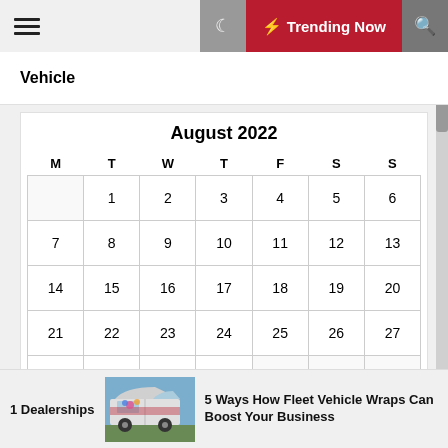☰  🌙  ⚡ Trending Now  🔍
Vehicle
| M | T | W | T | F | S | S |
| --- | --- | --- | --- | --- | --- | --- |
| 1 | 2 | 3 | 4 | 5 | 6 | 7 |
| 8 | 9 | 10 | 11 | 12 | 13 | 14 |
| 15 | 16 | 17 | 18 | 19 | 20 | 21 |
| 22 | 23 | 24 | 25 | 26 | 27 | 28 |
| 29 | 30 | 31 |  |  |  |  |
1 Dealerships
5 Ways How Fleet Vehicle Wraps Can Boost Your Business